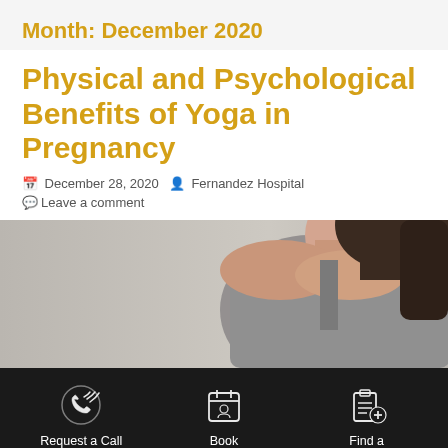Month: December 2020
Physical and Psychological Benefits of Yoga in Pregnancy
December 28, 2020  Fernandez Hospital  Leave a comment
[Figure (photo): A woman in a gray tank top photographed from the side, representing pregnancy yoga article illustration]
Request a Call Back   Book Appointment   Find a Specialist